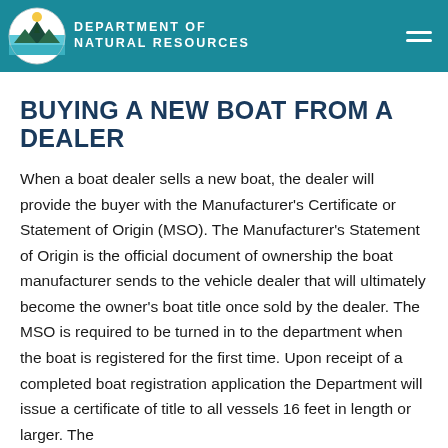DEPARTMENT OF NATURAL RESOURCES
BUYING A NEW BOAT FROM A DEALER
When a boat dealer sells a new boat, the dealer will provide the buyer with the Manufacturer's Certificate or Statement of Origin (MSO). The Manufacturer's Statement of Origin is the official document of ownership the boat manufacturer sends to the vehicle dealer that will ultimately become the owner's boat title once sold by the dealer. The MSO is required to be turned in to the department when the boat is registered for the first time. Upon receipt of a completed boat registration application the Department will issue a certificate of title to all vessels 16 feet in length or larger. The